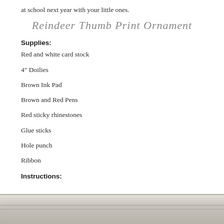at school next year with your little ones.
Reindeer Thumb Print Ornament
Supplies:
Red and white card stock
4" Doilies
Brown Ink Pad
Brown and Red Pens
Red sticky rhinestones
Glue sticks
Hole punch
Ribbon
Instructions:
[Figure (photo): Photo of a whitewashed wooden surface/plank background, showing textured wood grain lines]